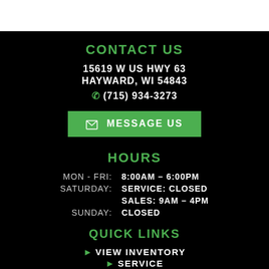CONTACT US
15619 W US HWY 63
HAYWARD, WI 54843
(715) 934-3273
MESSAGE US
HOURS
MON - FRI: 8:00AM - 6:00PM
SATURDAY: SERVICE: CLOSED
SALES: 9AM - 4PM
SUNDAY: CLOSED
QUICK LINKS
VIEW INVENTORY
SERVICE
PARTS